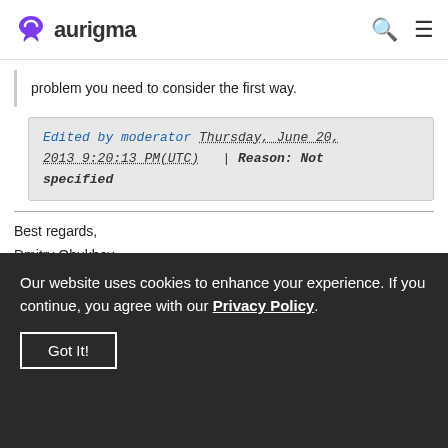aurigma
problem you need to consider the first way.
Edited by moderator Thursday, June 20, 2013 9:20:13 PM(UTC) | Reason: Not specified
Best regards,
Dmitry Obukhov

Technical Support, Aurigma, Inc.
Our website uses cookies to enhance your experience. If you continue, you agree with our Privacy Policy.